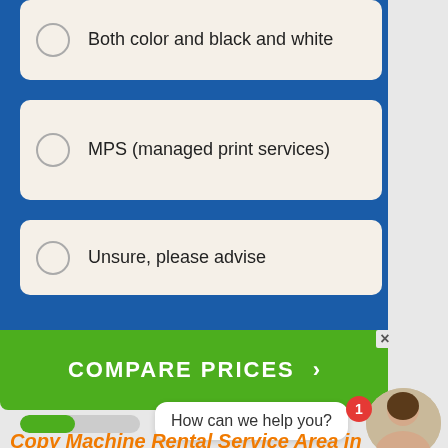Both color and black and white
MPS (managed print services)
Unsure, please advise
COMPARE PRICES
How can we help you?
Copy Machine Rental Service Area in